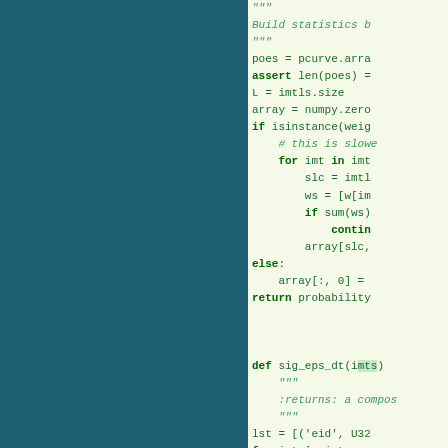[Figure (screenshot): Dark teal left panel (sidebar)]
Python code snippet showing a function body with docstring, statistics building logic with poes, assert, array, if isinstance, for loop, slc, ws, if sum continue, array[slc], else, array[:, 0], return probability, and a new function def sig_eps_dt with docstring :returns: a compos., lst = [('eid', U32, for imt in imts: lst.append('s